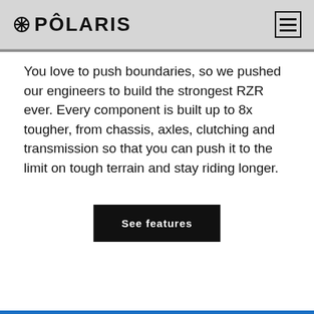POLARIS
You love to push boundaries, so we pushed our engineers to build the strongest RZR ever. Every component is built up to 8x tougher, from chassis, axles, clutching and transmission so that you can push it to the limit on tough terrain and stay riding longer.
[Figure (other): See features button — black rectangular button with white bold text reading 'See features']